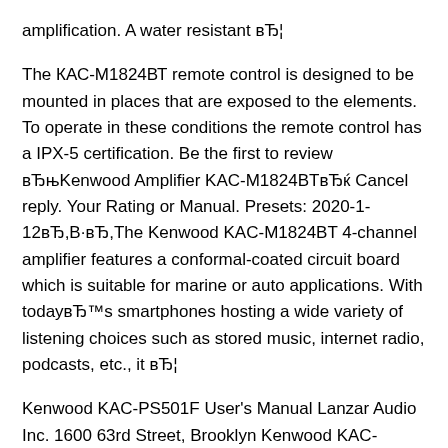amplification. A water resistant вЂ¦
The КАС-М1824ВТ remote control is designed to be mounted in places that are exposed to the elements. To operate in these conditions the remote control has a IPX-5 certification. Be the first to review вЂњKenwood Amplifier KAC-M1824BTвЂќ Cancel reply. Your Rating or Manual. Presets: 2020-1-12вЂ,В·вЂ,The Kenwood KAC-M1824BT 4-channel amplifier features a conformal-coated circuit board which is suitable for marine or auto applications. With todayвЂ™s smartphones hosting a wide variety of listening choices such as stored music, internet radio, podcasts, etc., it вЂ¦
Kenwood KAC-PS501F User's Manual Lanzar Audio Inc. 1600 63rd Street, Brooklyn Kenwood KAC-PS811D Stereo Amplifier User Manual Owner`s Manual - Andy`s Auto Sport Kenwood KAC-PS401M User's Manual Kenwood KAC-PS541 Stereo